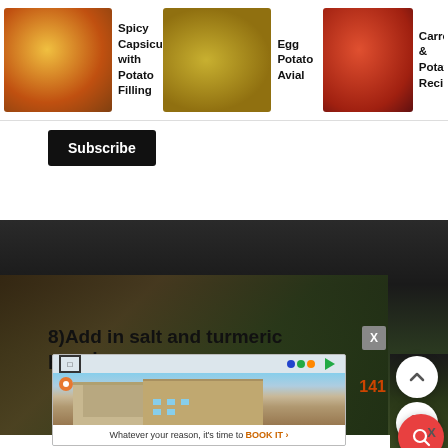[Figure (screenshot): Food recipe thumbnail - Spicy Capsicum with Potato Filling]
Spicy Capsicum with Potato Filling
[Figure (screenshot): Food recipe thumbnail - Egg Potato Avial]
Egg Potato Avial
[Figure (screenshot): Food recipe thumbnail - Carrot & Potato... Recipe]
Carrot & Potato... Recipe
Subscribe
[Figure (photo): Dark food preparation background image]
8)Add in salt and turmeric powder.
[Figure (screenshot): Advertisement overlay showing Comfort Inn hotel building with text: Whatever your reason, it's time to BOOK IT]
Whatever your reason, it's time to BOOK IT >